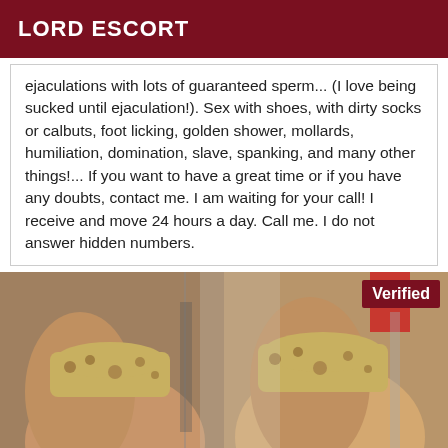LORD ESCORT
ejaculations with lots of guaranteed sperm... (I love being sucked until ejaculation!). Sex with shoes, with dirty socks or calbuts, foot licking, golden shower, mollards, humiliation, domination, slave, spanking, and many other things!... If you want to have a great time or if you have any doubts, contact me. I am waiting for your call! I receive and move 24 hours a day. Call me. I do not answer hidden numbers.
[Figure (photo): Photo of a person from behind wearing leopard print underwear, shown in a gym or indoor setting. A 'Verified' badge appears in the top-right corner of the image.]